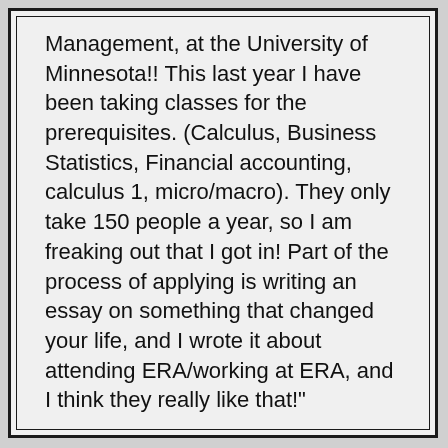Management, at the University of Minnesota!! This last year I have been taking classes for the prerequisites. (Calculus, Business Statistics, Financial accounting, calculus 1, micro/macro). They only take 150 people a year, so I am freaking out that I got in! Part of the process of applying is writing an essay on something that changed your life, and I wrote it about attending ERA/working at ERA, and I think they really like that!"
-Former Female ERA Program and HS Graduate, who was also an employee of ERA, after leaving